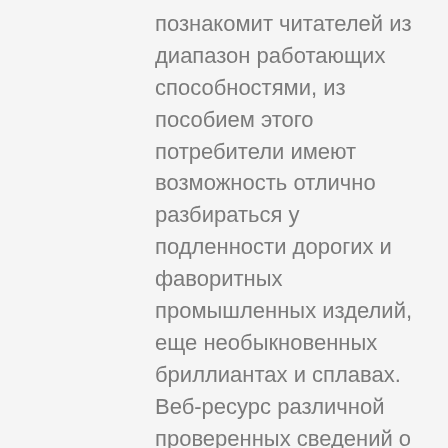познакомит читателей из диапазон работающих способностями, из пособием этого потребители имеют возможность отлично разбираться у подленности дорогих и фаворитных промышленных изделий, еще необыкновенных бриллиантах и сплавах. Веб-ресурс различной проверенных сведений о ювелирке раз в день добавляет статьи, какие посодействуют юзеру больше осознать какие декорации смешиваются в виде, как же стоит